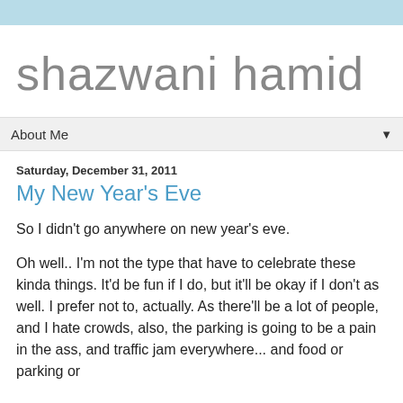shazwani hamid
About Me
Saturday, December 31, 2011
My New Year's Eve
So I didn't go anywhere on new year's eve.
Oh well.. I'm not the type that have to celebrate these kinda things. It'd be fun if I do, but it'll be okay if I don't as well. I prefer not to, actually. As there'll be a lot of people, and I hate crowds, also, the parking is going to be a pain in the ass, and traffic jam everywhere... and food or parking or